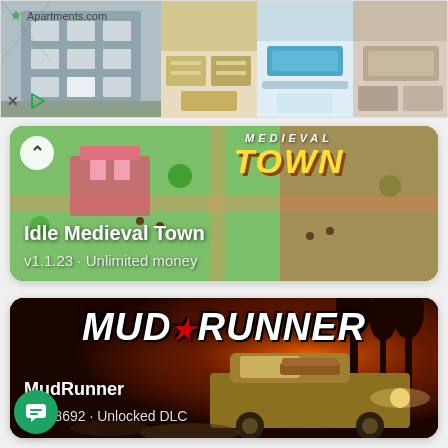[Figure (screenshot): Advertisement banner for Apartments.com showing apartment building exterior and interior photos]
[Figure (screenshot): Game listing card for 'Idle Medieval Town' - v1.1.23 · Unlimited money, with isometric medieval town game art and yellow stylized logo]
[Figure (screenshot): Game listing card for 'MudRunner' - v4.3.8692 · Unlocked DLC, with muddy truck off-road game art and bold white title logo]
[Figure (illustration): Green circle chat FAB button at bottom left]